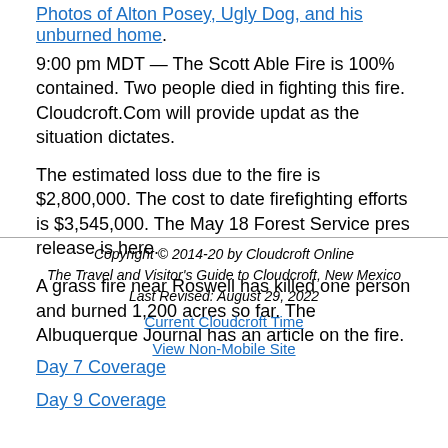Photos of Alton Posey, Ugly Dog, and his unburned home.
9:00 pm MDT — The Scott Able Fire is 100% contained. Two people died in fighting this fire. Cloudcroft.Com will provide updates as the situation dictates.
The estimated loss due to the fire is $2,800,000. The cost to date firefighting efforts is $3,545,000. The May 18 Forest Service press release is here.
A grass fire near Roswell has killed one person and burned 1,200 acres so far. The Albuquerque Journal has an article on the fire.
Day 7 Coverage
Day 9 Coverage
Copyright © 2014-20 by Cloudcroft Online
The Travel and Visitor's Guide to Cloudcroft, New Mexico
Last Revised: August 29, 2022
Current Cloudcroft Time
View Non-Mobile Site